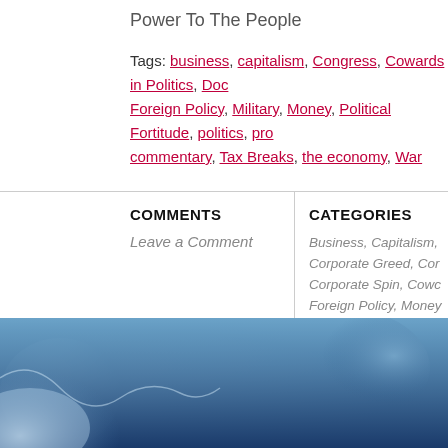Power To The People
Tags: business, capitalism, Congress, Cowards in Politics, Doc, Foreign Policy, Military, Money, Political Fortitude, politics, pro commentary, Tax Breaks, the economy, War
COMMENTS
Leave a Comment
CATEGORIES
Business, Capitalism, Corporate Greed, Cor, Corporate Spin, Cowc, Foreign Policy, Money, Fortitude, Politics, Pr, Commentary, The Ec, Military, Uncategorize
[Figure (photo): Blue-toned abstract photo with light reflections, possibly water or fabric, at the bottom of the page]